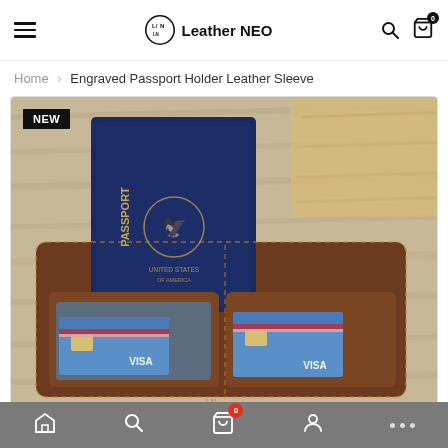Leather NEO
Home > Engraved Passport Holder Leather Sleeve
[Figure (photo): Brown leather engraved passport holder sleeve open on a wooden surface, with a dark blue US passport inserted in the top pocket and two blue Visa cards in the lower card slots. A wooden piece is visible in the upper right corner. A black 'NEW' badge is in the top-left corner of the image.]
Home | Search | Cart (0) | Profile | More